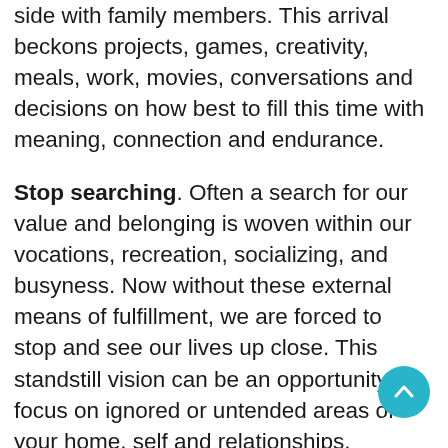side with family members. This arrival beckons projects, games, creativity, meals, work, movies, conversations and decisions on how best to fill this time with meaning, connection and endurance.
Stop searching. Often a search for our value and belonging is woven within our vocations, recreation, socializing, and busyness. Now without these external means of fulfillment, we are forced to stop and see our lives up close. This standstill vision can be an opportunity to focus on ignored or untended areas of your home, self and relationships.
Stop running away. So much of our hectic pace, schedules and running, keep us on a rapidly paced conveyor belt of life. Often the “have to do’s” pro... to run away from our hearts’ desire, dreams and y...